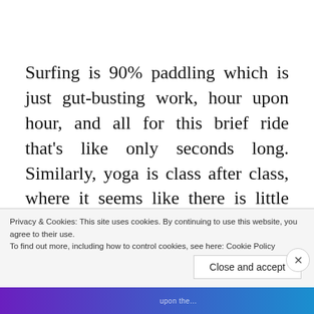Surfing is 90% paddling which is just gut-busting work, hour upon hour, and all for this brief ride that's like only seconds long. Similarly, yoga is class after class, where it seems like there is little or no progress and then there is that comparison to these persons who hardly ever comes and they make it look so easy and like they are having fun while we struggle, but this is life: there isn't anything easy about it. If we believe in the concept
Privacy & Cookies: This site uses cookies. By continuing to use this website, you agree to their use.
To find out more, including how to control cookies, see here: Cookie Policy
Close and accept